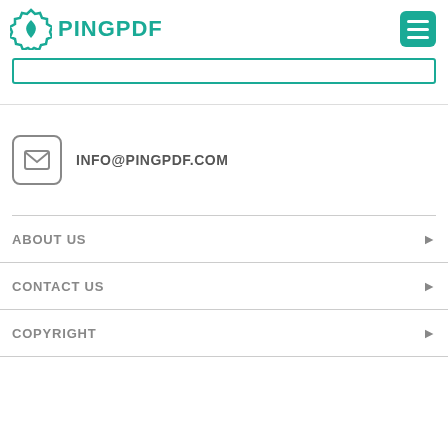PINGPDF
INFO@PINGPDF.COM
ABOUT US
CONTACT US
COPYRIGHT